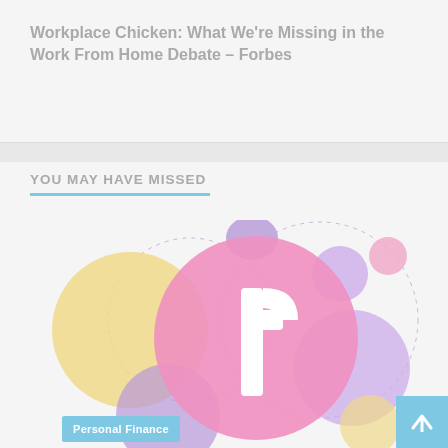Workplace Chicken: What We're Missing in the Work From Home Debate – Forbes
YOU MAY HAVE MISSED
[Figure (illustration): Decorative illustration with colorful overlapping circles (yellow, pink/magenta, purple, light purple) arranged around a large pink circle containing a white Facebook 'f' logo. Dotted circle outlines in the background. A 'Personal Finance' category badge in light blue appears at the bottom left, and a scroll-to-top button in light blue at the bottom right.]